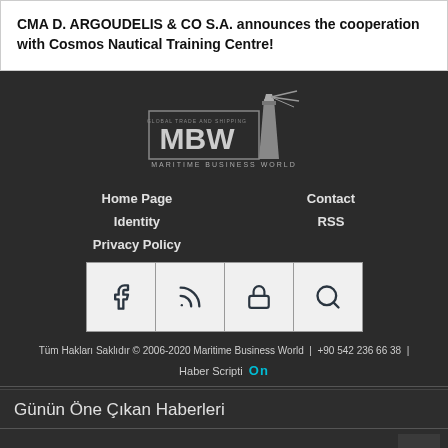CMA D. ARGOUDELIS & CO S.A. announces the cooperation with Cosmos Nautical Training Centre!
[Figure (logo): MBW Maritime Business World logo with lighthouse graphic on dark background]
Home Page   Contact
Identity   RSS
Privacy Policy
[Figure (other): Icon bar with four icons: Facebook, RSS feed, lock/login, search]
Tüm Hakları Saklıdır © 2006-2020 Maritime Business World | +90 542 236 66 38 |
Haber Scripti [ON brand logo]
Günün Öne Çıkan Haberleri